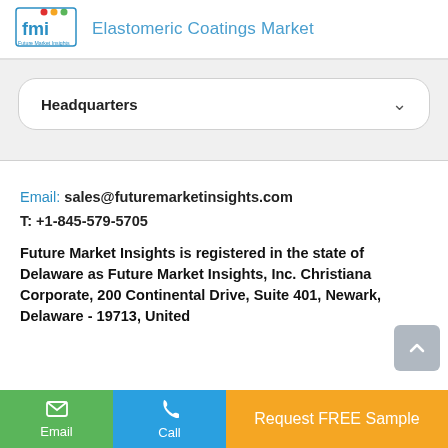Elastomeric Coatings Market
Headquarters
Email: sales@futuremarketinsights.com
T: +1-845-579-5705
Future Market Insights is registered in the state of Delaware as Future Market Insights, Inc. Christiana Corporate, 200 Continental Drive, Suite 401, Newark, Delaware - 19713, United
Request FREE Sample